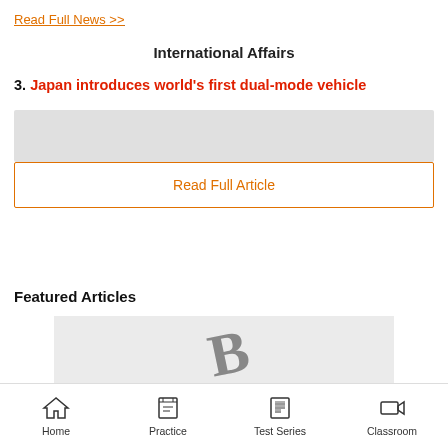Read Full News >>
International Affairs
3. Japan introduces world's first dual-mode vehicle
[Figure (other): Grey placeholder image box]
Read Full Article
Featured Articles
[Figure (illustration): Grey box with large stylized B letter logo, partially visible]
Home   Practice   Test Series   Classroom